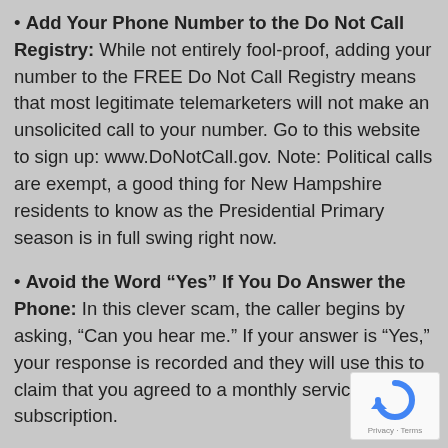Add Your Phone Number to the Do Not Call Registry: While not entirely fool-proof, adding your number to the FREE Do Not Call Registry means that most legitimate telemarketers will not make an unsolicited call to your number. Go to this website to sign up: www.DoNotCall.gov. Note: Political calls are exempt, a good thing for New Hampshire residents to know as the Presidential Primary season is in full swing right now.
Avoid the Word “Yes” If You Do Answer the Phone: In this clever scam, the caller begins by asking, “Can you hear me.” If your answer is “Yes,” your response is recorded and they will use this to claim that you agreed to a monthly service or subscription.
[Figure (logo): reCAPTCHA badge with Privacy and Terms links]